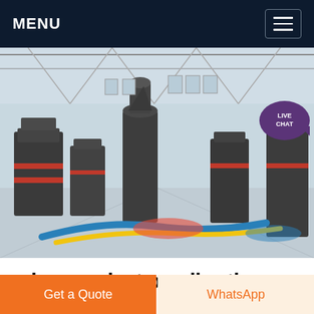MENU
[Figure (photo): Industrial factory interior showing large grinding mill machines and industrial equipment on a polished floor with blue, yellow, and red hoses. The factory has a steel roof structure with natural lighting from windows.]
minor project on vibrating
Get a Quote
WhatsApp